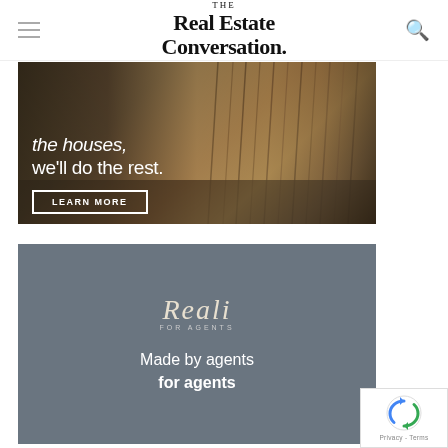THE Real Estate Conversation.
[Figure (photo): Dark advertisement banner with wooden architectural background showing text 'the houses, we'll do the rest.' with a LEARN MORE button]
[Figure (illustration): Grey advertisement banner for 'Reali FOR AGENTS' with text 'Made by agents for agents']
[Figure (logo): reCAPTCHA badge overlay in bottom-right corner with 'Privacy - Terms' text]